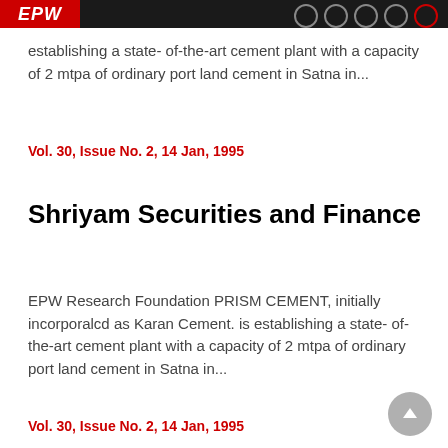EPW
establishing a state- of-the-art cement plant with a capacity of 2 mtpa of ordinary port land cement in Satna in...
Vol. 30, Issue No. 2, 14 Jan, 1995
Shriyam Securities and Finance
EPW Research Foundation PRISM CEMENT, initially incorporalcd as Karan Cement. is establishing a state- of-the-art cement plant with a capacity of 2 mtpa of ordinary port land cement in Satna in...
Vol. 30, Issue No. 2, 14 Jan, 1995